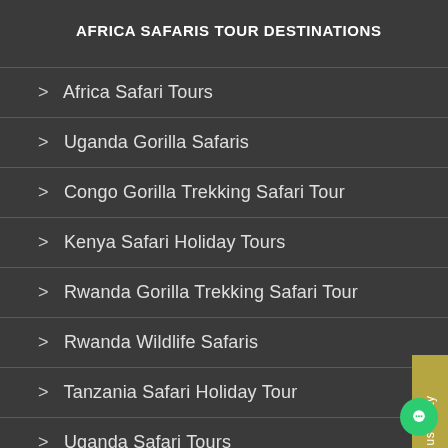AFRICA SAFARIS TOUR DESTINATIONS
> Africa Safari Tours
> Uganda Gorilla Safaris
> Congo Gorilla Trekking Safari Tour
> Kenya Safari Holiday Tours
> Rwanda Gorilla Trekking Safari Tour
> Rwanda Wildlife Safaris
> Tanzania Safari Holiday Tour
> Uganda Safari Tours